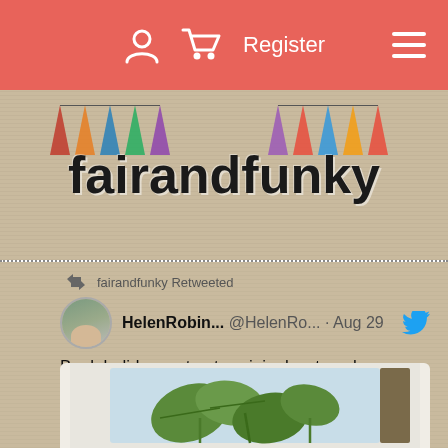Register
[Figure (screenshot): fairandfunky website header banner with bunting decorations and logo text]
fairandfunky Retweeted
HelenRobin... @HelenRo... · Aug 29
Bank holiday sort out - original watercolour artwork for sale.

Available unframed at £55. Please DM if interested 🌸
#shopIndie
[Figure (illustration): Partial view of a watercolour artwork showing green leaf/plant illustration]